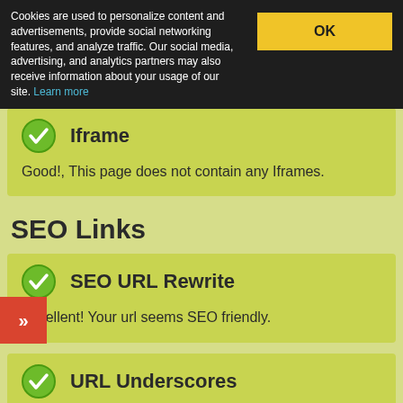Cookies are used to personalize content and advertisements, provide social networking features, and analyze traffic. Our social media, advertising, and analytics partners may also receive information about your usage of our site. Learn more
Iframe
Good!, This page does not contain any Iframes.
SEO Links
SEO URL Rewrite
Excellent! Your url seems SEO friendly.
URL Underscores